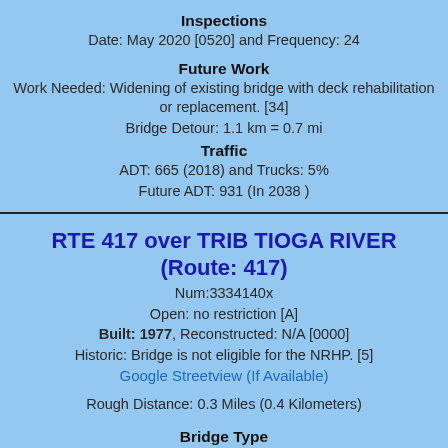Inspections
Date: May 2020 [0520] and Frequency: 24
Future Work
Work Needed: Widening of existing bridge with deck rehabilitation or replacement. [34]
Bridge Detour: 1.1 km = 0.7 mi
Traffic
ADT: 665 (2018) and Trucks: 5%
Future ADT: 931 (In 2038 )
RTE 417 over TRIB TIOGA RIVER (Route: 417)
Num:3334140x
Open: no restriction [A]
Built: 1977, Reconstructed: N/A [0000]
Historic: Bridge is not eligible for the NRHP. [5]
Google Streetview (If Available)
Rough Distance: 0.3 Miles (0.4 Kilometers)
Bridge Type
Main Span(s): Steel [3] Culvert [19]
Approach Span(s): Other [00]